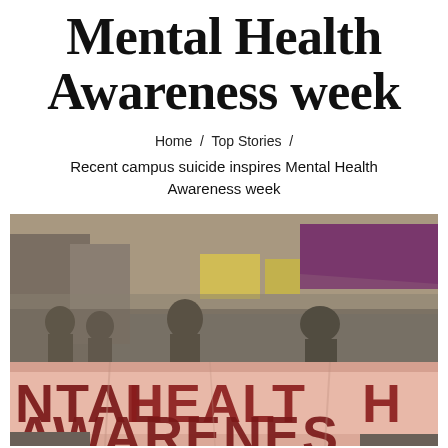Mental Health Awareness week
Home / Top Stories /
Recent campus suicide inspires Mental Health Awareness week
[Figure (photo): Outdoor campus scene with students in the background and a large banner in the foreground reading 'NTAL HEALTH AWARENES' (Mental Health Awareness), with a pink/red background and dark red lettering. A purple/maroon tent and yellow signs are visible in the background.]